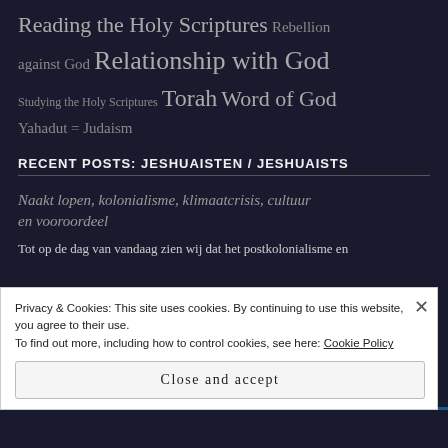Reading the Holy Scriptures Rebellion against God Relationship with God Studying the Holy Scriptures Torah Word of God Yahadut = Judaism
RECENT POSTS: JESHUAISTEN / JESHUAISTS
Naakt lopen, kolonialisme, klimaatcrisis, cultuur en vooroordeel
Tot op de dag van vandaag zien wij dat het postkolonialisme en
Privacy & Cookies: This site uses cookies. By continuing to use this website, you agree to their use.
To find out more, including how to control cookies, see here: Cookie Policy
Close and accept